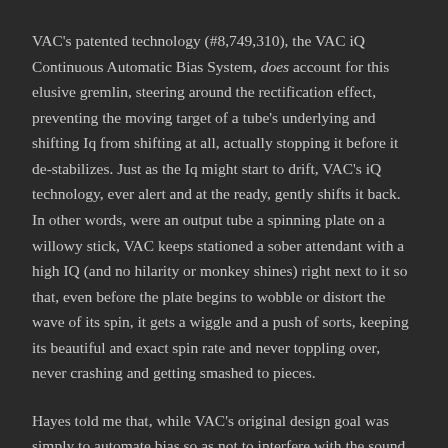VAC's patented technology (#8,749,310), the VAC iQ Continuous Automatic Bias System, does account for this elusive gremlin, steering around the rectification effect, preventing the moving target of a tube's underlying and shifting Iq from shifting at all, actually stopping it before it de-stabilizes. Just as the Iq might start to drift, VAC's iQ technology, ever alert and at the ready, gently shifts it back. In other words, were an output tube a spinning plate on a willowy stick, VAC keeps stationed a sober attendant with a high IQ (and no hilarity or monkey shines) right next to it so that, even before the plate begins to wobble or distort the wave of its spin, it gets a wiggle and a push of sorts, keeping its beautiful and exact spin rate and never toppling over, never crashing and getting smashed to pieces.
Hayes told me that, while VAC's original design goal was simply to automate bias so as not to interfere with the sound, the result was an improvement in sound -- the tubes